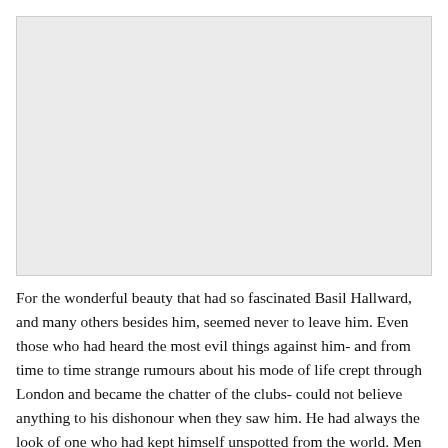[Figure (other): Large gray placeholder image area at top of page]
For the wonderful beauty that had so fascinated Basil Hallward, and many others besides him, seemed never to leave him. Even those who had heard the most evil things against him- and from time to time strange rumours about his mode of life crept through London and became the chatter of the clubs- could not believe anything to his dishonour when they saw him. He had always the look of one who had kept himself unspotted from the world. Men who talked loudly against him- Dorian Gray